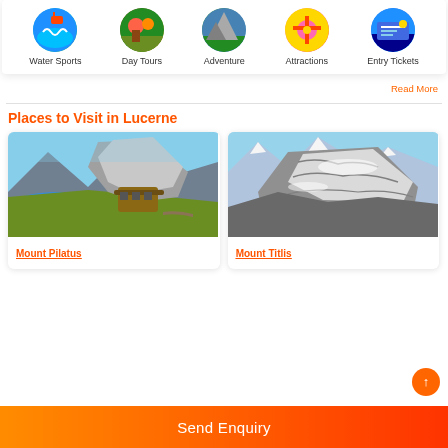[Figure (infographic): Five circular category icons in a row: Water Sports, Day Tours, Adventure, Attractions, Entry Tickets]
Read More
Places to Visit in Lucerne
[Figure (photo): Arial view of Mount Pilatus with mountains, lake, and hotel/observatory building]
Mount Pilatus
[Figure (photo): Mount Titlis snow-covered rocky mountain peaks with blue sky]
Mount Titlis
Send Enquiry